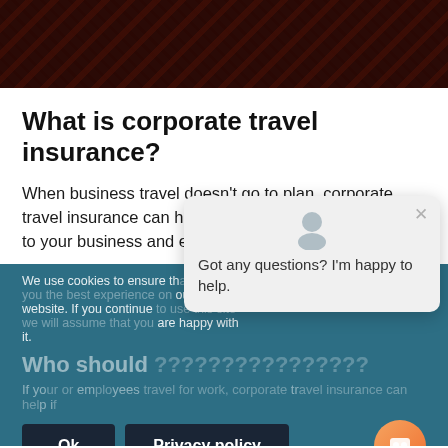[Figure (photo): Dark reddish-brown textured background image at top of page]
What is corporate travel insurance?
When business travel doesn't go to plan, corporate travel insurance can help to cover out-of-pocket costs to your business and employees.
Got any questions? I'm happy to help.
We use cookies to ensure that we give you the best experience on our website. If you continue to use this site we will assume that you are happy with it.
Who should
If you or your employees travel for work, corporate travel insurance can help if
Ok
Privacy policy